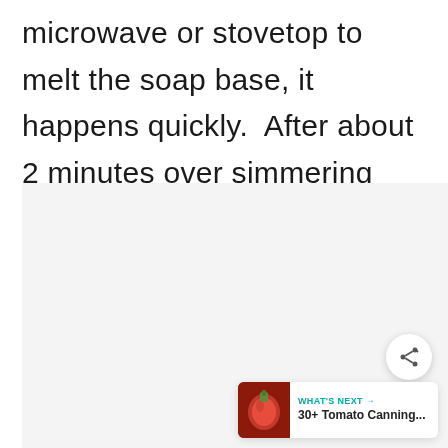microwave or stovetop to melt the soap base, it happens quickly.  After about 2 minutes over simmering water, my soap base was about 80% melted.
[Figure (other): Advertisement placeholder area with light gray background and three gray dots indicating loading]